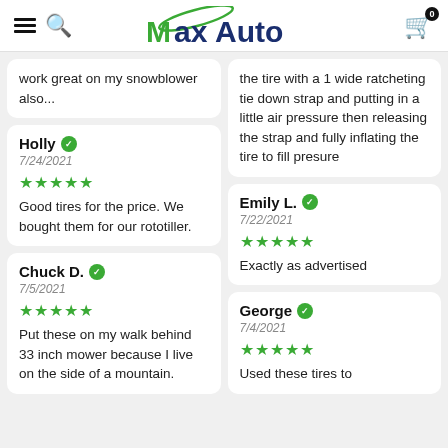MaxAuto
work great on my snowblower also...
the tire with a 1 wide ratcheting tie down strap and putting in a little air pressure then releasing the strap and fully inflating the tire to fill presure
Holly ✓
7/24/2021
★★★★★
Good tires for the price. We bought them for our rototiller.
Emily L. ✓
7/22/2021
★★★★★
Exactly as advertised
Chuck D. ✓
7/5/2021
★★★★★
Put these on my walk behind 33 inch mower because I live on the side of a mountain.
George ✓
7/4/2021
★★★★★
Used these tires to